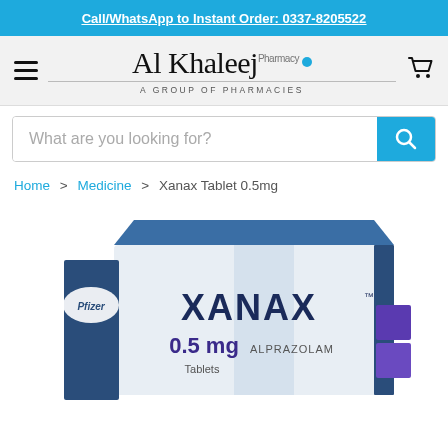Call/WhatsApp to Instant Order: 0337-8205522
[Figure (logo): Al Khaleej Pharmacy - A Group of Pharmacies logo with blue dot and cart icon]
What are you looking for?
Home > Medicine > Xanax Tablet 0.5mg
[Figure (photo): Xanax 0.5mg Alprazolam Tablets box by Pfizer - white and blue packaging]